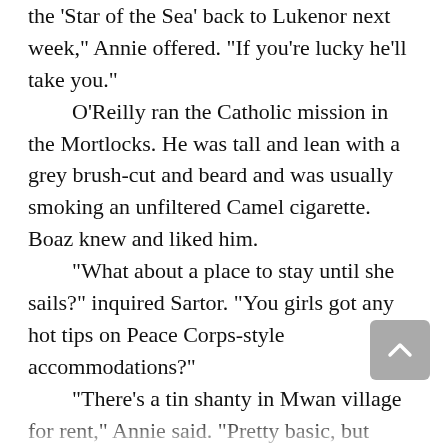the 'Star of the Sea' back to Lukenor next week," Annie offered. "If you're lucky he'll take you."
  O'Reilly ran the Catholic mission in the Mortlocks. He was tall and lean with a grey brush-cut and beard and was usually smoking an unfiltered Camel cigarette. Boaz knew and liked him.
  "What about a place to stay until she sails?" inquired Sartor. "You girls got any hot tips on Peace Corps-style accommodations?"
  "There's a tin shanty in Mwan village for rent," Annie said. "Pretty basic, but cheap. Of course Mwan can be scary; that's Kalisto's turf."
  "Kalisto? Is he out? I thought he got six months calaboose time for braining some poor sou... ...shell hat."